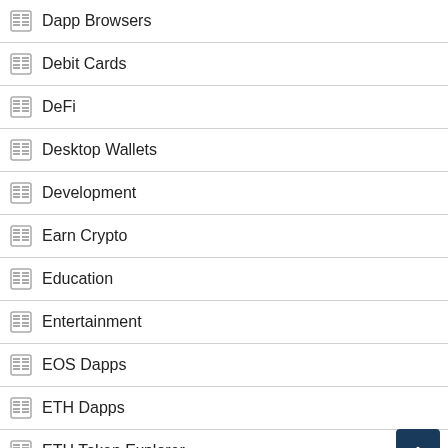Dapp Browsers
Debit Cards
DeFi
Desktop Wallets
Development
Earn Crypto
Education
Entertainment
EOS Dapps
ETH Dapps
ETH Token Explorer
Exchange